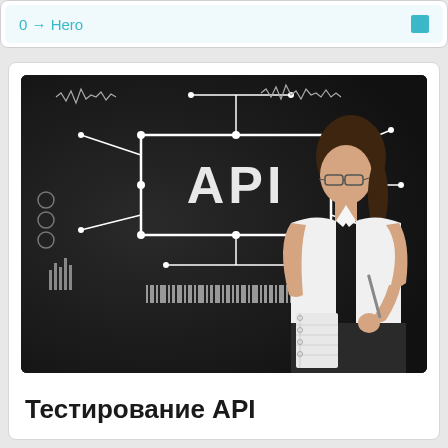0 → Hero
[Figure (photo): A professional woman in a white shirt and glasses holding a notebook and pen, standing in front of a dark background with an API diagram showing connected nodes, circuit-like graphics, charts, and the word 'API' prominently displayed.]
Тестирование API